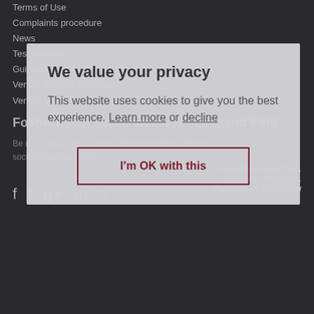Terms of Use
Complaints procedure
News
Testimonials
Guidelines for COVID-19 viewings
Vendor Covid-19 checklist
Vendor Virtual Tour Permission Form
Follow us on social media at Marchand Petit
Be in the loop with all things Marchand Petit, following our social media accounts.
© Marchand Petit 2022. All Rights Reserved. Powered by Homeflow
[Figure (other): Social media icons: Facebook, Twitter, Google+, LinkedIn, Instagram]
We value your privacy
This website uses cookies to give you the best experience. Learn more or decline
I'm OK with this